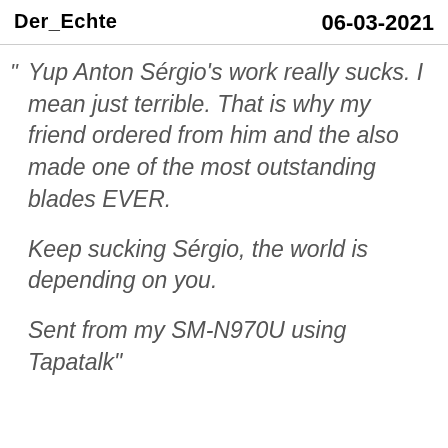Der_Echte    06-03-2021
Yup Anton Sérgio's work really sucks. I mean just terrible. That is why my friend ordered from him and the also made one of the most outstanding blades EVER.
Keep sucking Sérgio, the world is depending on you.
Sent from my SM-N970U using Tapatalk"